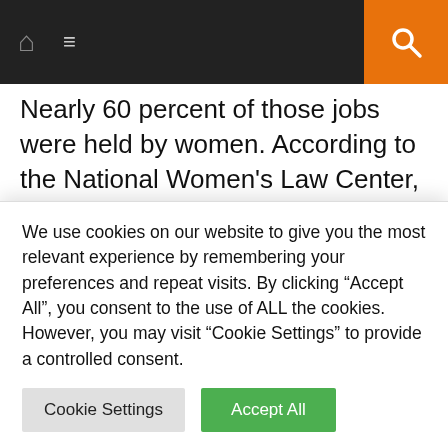Navigation bar with home icon, menu icon, and search button
Nearly 60 percent of those jobs were held by women. According to the National Women's Law Center, “Since February 2020, women have lost over 8 million net jobs, accounting for 55 percent of overall net job loss since the start of the pandemic. …While some jobs have returned, many women are not working the hours they want or need.” With all of the political chatter about economic recovery, the narrative does not describe the new reality that 41 percent of
We use cookies on our website to give you the most relevant experience by remembering your preferences and repeat visits. By clicking “Accept All”, you consent to the use of ALL the cookies. However, you may visit “Cookie Settings” to provide a controlled consent.
Cookie Settings
Accept All